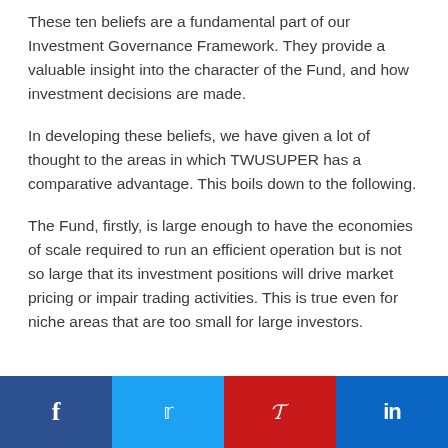These ten beliefs are a fundamental part of our Investment Governance Framework. They provide a valuable insight into the character of the Fund, and how investment decisions are made.
In developing these beliefs, we have given a lot of thought to the areas in which TWUSUPER has a comparative advantage. This boils down to the following.
The Fund, firstly, is large enough to have the economies of scale required to run an efficient operation but is not so large that its investment positions will drive market pricing or impair trading activities. This is true even for niche areas that are too small for large investors.
[Figure (other): Social media share buttons: Facebook (dark blue), Twitter (light blue), Pinterest (red), LinkedIn (blue)]